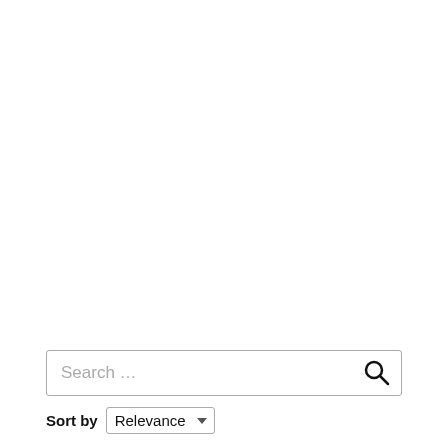[Figure (screenshot): Search input field with placeholder text 'Search ...' and a magnifying glass icon on the right side, followed by a Sort by dropdown showing 'Relevance']
Search ...
Sort by Relevance